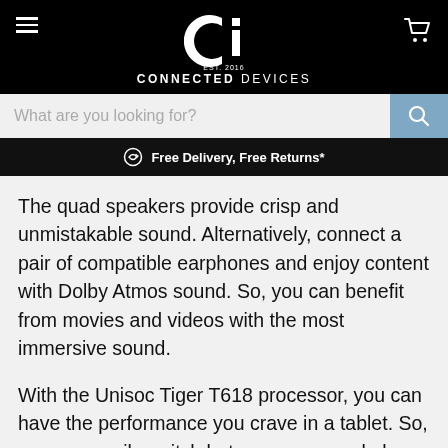CONNECTED DEVICES — EST. 2016
What are you looking for?
Free Delivery, Free Returns*
The quad speakers provide crisp and unmistakable sound. Alternatively, connect a pair of compatible earphones and enjoy content with Dolby Atmos sound. So, you can benefit from movies and videos with the most immersive sound.
With the Unisoc Tiger T618 processor, you can have the performance you crave in a tablet. So, you can easily switch between apps and play the most intense games.
To ensure the tablet is always ready, it has a 7,040 mAh